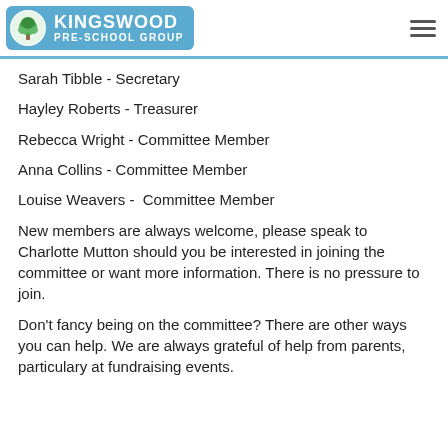Kingswood Pre-School Group
Sarah Tibble - Secretary
Hayley Roberts - Treasurer
Rebecca Wright - Committee Member
Anna Collins - Committee Member
Louise Weavers -  Committee Member
New members are always welcome, please speak to Charlotte Mutton should you be interested in joining the committee or want more information. There is no pressure to join.
Don't fancy being on the committee? There are other ways you can help. We are always grateful of help from parents, particulary at fundraising events.